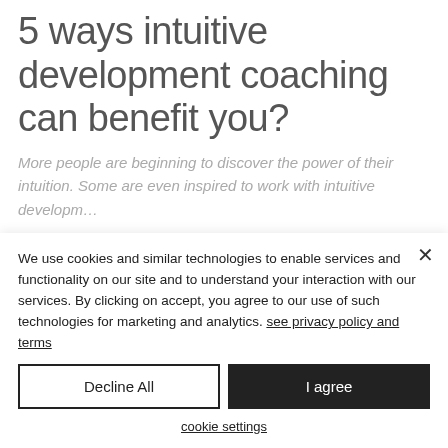5 ways intuitive development coaching can benefit you?
More people are beginning to discover the power of their intuition. Some are even inspired to work with intuitive developm…
We use cookies and similar technologies to enable services and functionality on our site and to understand your interaction with our services. By clicking on accept, you agree to our use of such technologies for marketing and analytics. see privacy policy and terms
Decline All
I agree
cookie settings